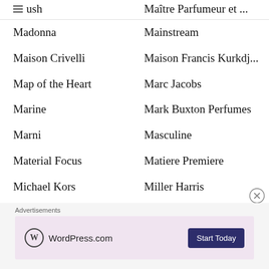Lush
Maître Parfumeur et ...
Madonna
Mainstream
Maison Crivelli
Maison Francis Kurkdj...
Map of the Heart
Marc Jacobs
Marine
Mark Buxton Perfumes
Marni
Masculine
Material Focus
Matiere Premiere
Michael Kors
Miller Harris
Mizensir
Molinard
Molton Brown
Mona di Orio
Advertisements
[Figure (other): WordPress.com advertisement banner with logo and 'Start Today' button]